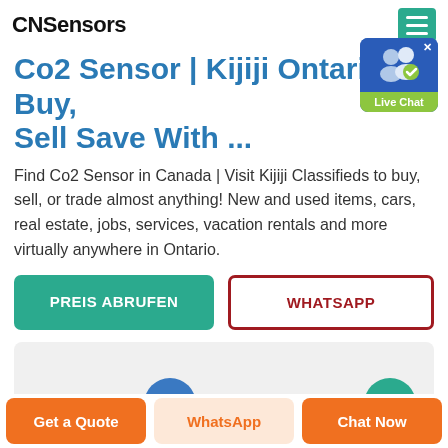CNSensors
Co2 Sensor | Kijiji Ontario: Buy, Sell Save With ...
Find Co2 Sensor in Canada | Visit Kijiji Classifieds to buy, sell, or trade almost anything! New and used items, cars, real estate, jobs, services, vacation rentals and more virtually anywhere in Ontario.
PREIS ABRUFEN
WHATSAPP
[Figure (other): Gray card area with two partially visible circles - one blue and one teal/green]
Get a Quote
WhatsApp
Chat Now